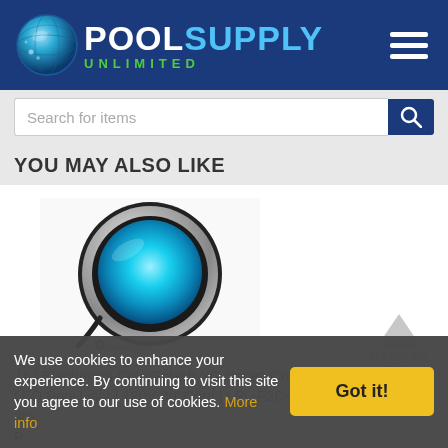[Figure (logo): Pool Supply Unlimited logo with globe icon, blue and green text on dark blue header background]
Search for items
YOU MAY ALSO LIKE
[Figure (photo): J&J Electronics ColorSplash XG Series Color LED Pool Light glowing blue, circular with chrome rim, on white background with ColorSplash XG logo]
J&J Electronics ColorSplash XG Series Color LED Pool Light | 120V 30' Cord | LPL-F2C-120-30-P
$509.00
BACK TO TOP
We use cookies to enhance your experience. By continuing to visit this site you agree to our use of cookies. More info